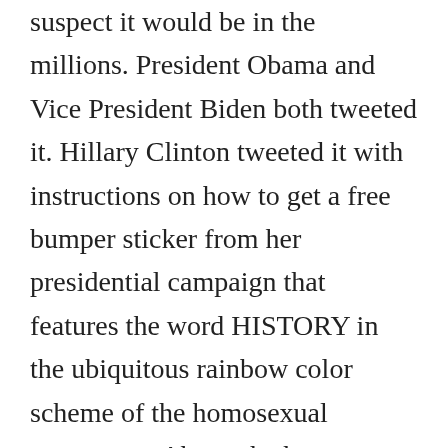suspect it would be in the millions. President Obama and Vice President Biden both tweeted it. Hillary Clinton tweeted it with instructions on how to get a free bumper sticker from her presidential campaign that features the word HISTORY in the ubiquitous rainbow color scheme of the homosexual movement. Above the bumper sticker was the headline "All love is equal." STOP-Homophobia.com tweeted "It's only a matter of time before #LoveWins worldwide." Coca-Cola was one of many companies quick to embrace the ruling and be sure everyone knows that they celebrate the decision, and Facebook made it possible for uses to place a rainbow-colored overlay over their profile pictures in a show of support.